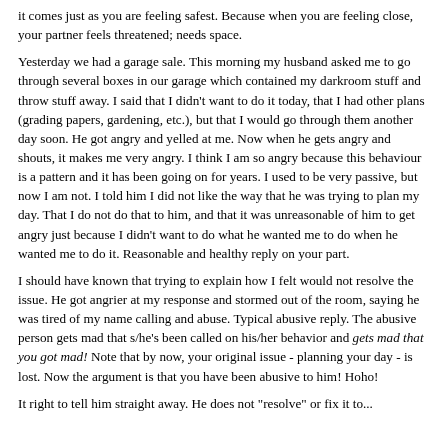it comes just as you are feeling safest. Because when you are feeling close, your partner feels threatened; needs space.
Yesterday we had a garage sale. This morning my husband asked me to go through several boxes in our garage which contained my darkroom stuff and throw stuff away. I said that I didn't want to do it today, that I had other plans (grading papers, gardening, etc.), but that I would go through them another day soon. He got angry and yelled at me. Now when he gets angry and shouts, it makes me very angry. I think I am so angry because this behaviour is a pattern and it has been going on for years. I used to be very passive, but now I am not. I told him I did not like the way that he was trying to plan my day. That I do not do that to him, and that it was unreasonable of him to get angry just because I didn't want to do what he wanted me to do when he wanted me to do it. Reasonable and healthy reply on your part.
I should have known that trying to explain how I felt would not resolve the issue. He got angrier at my response and stormed out of the room, saying he was tired of my name calling and abuse. Typical abusive reply. The abusive person gets mad that s/he's been called on his/her behavior and gets mad that you got mad! Note that by now, your original issue - planning your day - is lost. Now the argument is that you have been abusive to him! Hoho!
It right to tell him straight away. He does not "resolve" or fix it to...